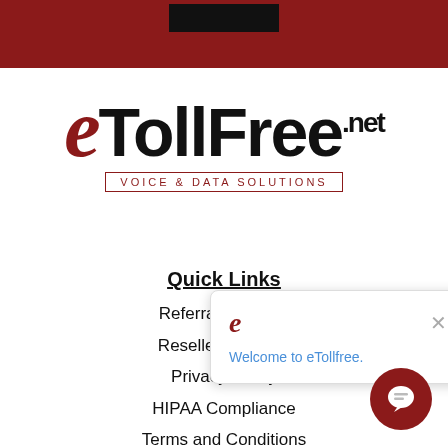[Figure (logo): eTollFree.net Voice & Data Solutions logo with dark red 'e' in italic, bold black 'TollFree' text, '.net' superscript, and red tagline in bordered box]
Quick Links
Referral Program
Reseller Program
Privacy Policy
HIPAA Compliance
Terms and Conditions
Contact Us
[Figure (screenshot): Chat popup overlay with eTollfree 'e' logo icon, close X button, and blue text 'Welcome to eTollfree.']
[Figure (other): Dark red circular chat bubble button in bottom right corner]